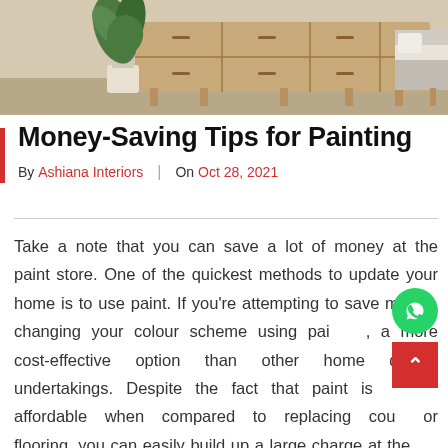[Figure (photo): Hero interior photo showing a wooden dresser/sideboard with multiple drawers, a potted plant on the left, and a bed with grey bedding on the right. Warm neutral tones.]
Money-Saving Tips for Painting
By Ashiana Interiors  |  On Oct 28, 2021
Take a note that you can save a lot of money at the paint store. One of the quickest methods to update your home is to use paint. If you're attempting to save money, changing your colour scheme using paint is a more cost-effective option than other home design undertakings. Despite the fact that paint is relatively affordable when compared to replacing counters or flooring, you can easily build up a large charge at the